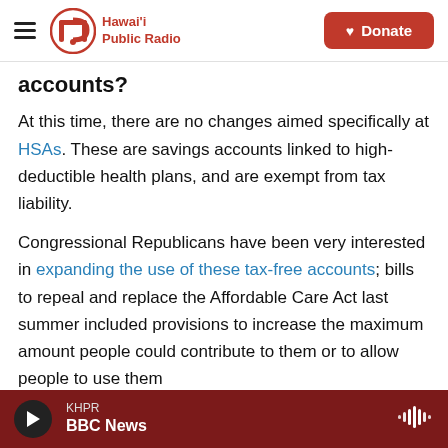Hawaii Public Radio — Donate
accounts?
At this time, there are no changes aimed specifically at HSAs. These are savings accounts linked to high-deductible health plans, and are exempt from tax liability.
Congressional Republicans have been very interested in expanding the use of these tax-free accounts; bills to repeal and replace the Affordable Care Act last summer included provisions to increase the maximum amount people could contribute to them or to allow people to use them
KHPR BBC News